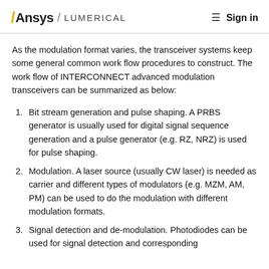Ansys / LUMERICAL  ≡  Sign in
As the modulation format varies, the transceiver systems keep some general common work flow procedures to construct. The work flow of INTERCONNECT advanced modulation transceivers can be summarized as below:
Bit stream generation and pulse shaping. A PRBS generator is usually used for digital signal sequence generation and a pulse generator (e.g. RZ, NRZ) is used for pulse shaping.
Modulation. A laser source (usually CW laser) is needed as carrier and different types of modulators (e.g. MZM, AM, PM) can be used to do the modulation with different modulation formats.
Signal detection and de-modulation. Photodiodes can be used for signal detection and corresponding